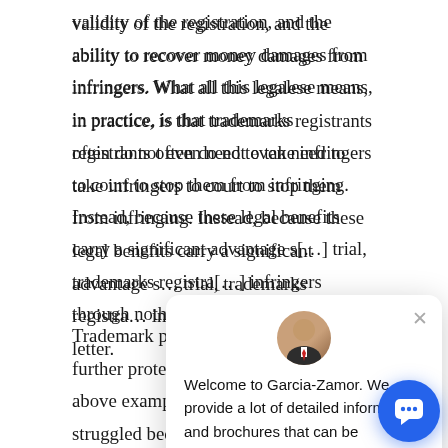validity of the registration, and the ability to recover money damages from infringers. What all this legalese means, in practice, is that trademarks registrants often do not even need to take infringers to court to stop them from infringing. Instead, because these legal benefits carry a significant advantage s[...] trial, trademarks registra[...] infringers through nothin[...] letter.
Trademark protections a[...] adding further protection[...] registrants. In the above example, the software company struggled because it could not afford to try to have the domain name taken from the infringer. For holders of
[Figure (screenshot): Chat popup widget from Garcia-Zamor website. Shows a headshot avatar of a man in a suit at the top, a close (X) button, and the message: 'Welcome to Garcia-Zamor. We provide a lot of detailed information and brochures that can be downloaded via this chat after providing your name and email address.' A blue circular chat button icon is in the bottom right.]